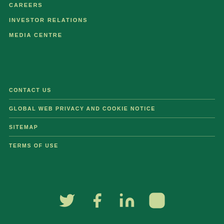CAREERS
INVESTOR RELATIONS
MEDIA CENTRE
CONTACT US
GLOBAL WEB PRIVACY AND COOKIE NOTICE
SITEMAP
TERMS OF USE
[Figure (illustration): Social media icons: Twitter, Facebook, LinkedIn, Instagram in light green on dark green background]